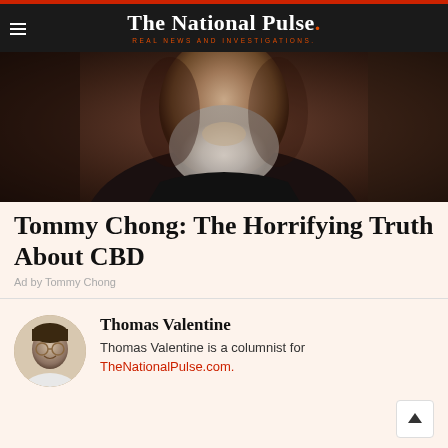The National Pulse. REAL NEWS AND INVESTIGATIONS.
[Figure (photo): Close-up photo of an older man with a white beard wearing a dark leather jacket, photographed in low light against a dark background.]
Tommy Chong: The Horrifying Truth About CBD
Ad by Tommy Chong
Thomas Valentine
Thomas Valentine is a columnist for TheNationalPulse.com.